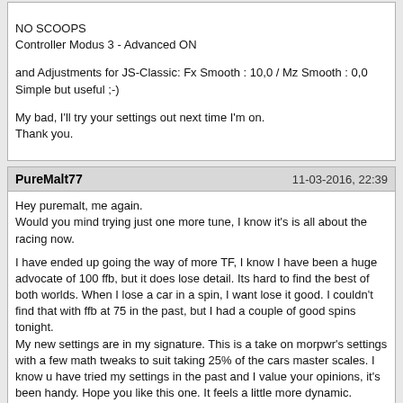NO SCOOPS
Controller Modus 3 - Advanced ON

and Adjustments for JS-Classic: Fx Smooth : 10,0 / Mz Smooth : 0,0
Simple but useful ;-)

My bad, I'll try your settings out next time I'm on.
Thank you.
PureMalt77	11-03-2016, 22:39

Hey puremalt, me again.
Would you mind trying just one more tune, I know it's is all about the racing now.

I have ended up going the way of more TF, I know I have been a huge advocate of 100 ffb, but it does lose detail. Its hard to find the best of both worlds. When I lose a car in a spin, I want lose it good. I couldn't find that with ffb at 75 in the past, but I had a couple of good spins tonight.
My new settings are in my signature. This is a take on morpwr's settings with a few math tweaks to suit taking 25% of the cars master scales. I know u have tried my settings in the past and I value your opinions, it's been handy. Hope you like this one. It feels a little more dynamic.

Hi Bunga,
I tested your settings today.
First I tried exactly as you documented it, globals + reducing masters by 25%.
The usual Watkins + RUF GT3, I was lapping 1.0 - 1.5s slower. Did a good 15 laps to try and relearn, but only got better when I raised the masters back. Your settings are really good, the detail is definitely there, but for my personal taste I need it way stronger.
I'm not ready yet to trade them against mine! But thanks to the latest tips I did a bit of tweaking to reduce these "kicks" and get even more precision at cornering.
notdirt410sprinters	12-03-2016, 04:30